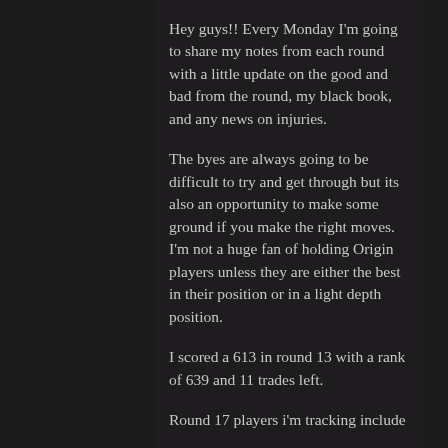Hey guys!! Every Monday I'm going to share my notes from each round with a little update on the good and bad from the round, my black book, and any news on injuries.
The byes are always going to be difficult to try and get through but its also an opportunity to make some ground if you make the right moves. I'm not a huge fan of holding Origin players unless they are either the best in their position or in a light depth position.
I scored a 613 in round 13 with a rank of 639 and 11 trades left.
Round 17 players i'm tracking include